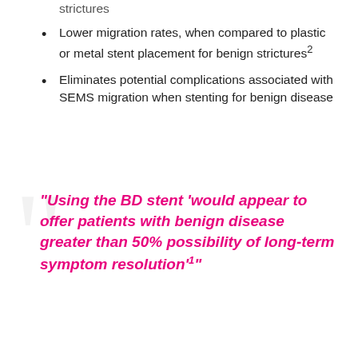strictures
Lower migration rates, when compared to plastic or metal stent placement for benign strictures²
Eliminates potential complications associated with SEMS migration when stenting for benign disease
“Using the BD stent ‘would appear to offer patients with benign disease greater than 50% possibility of long-term symptom resolution’¹”